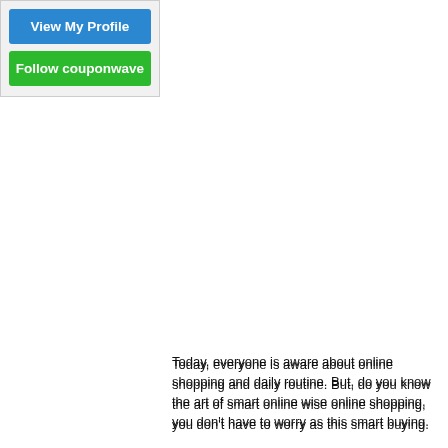[Figure (other): Blue 'View My Profile' button]
[Figure (other): Green 'Follow couponwave' button]
Today, everyone is aware about online shopping and daily routine. But, do you know the art of smart online wise online shopping, you don't have to worry as this smart buying.
Many of us can't control over the problems such as c many of us get easily attracted towards attractive onl be that you are one of them who pressured to purcha friends. Another possibility is that you may don't know snapdeal coupon codes. If you belong to this group, your troubles.
Here is the list of some important points that you sho
Look for Double or Triple Deals:
These kinds of double or triple deals will help you to necessary for you to get well informed about such de